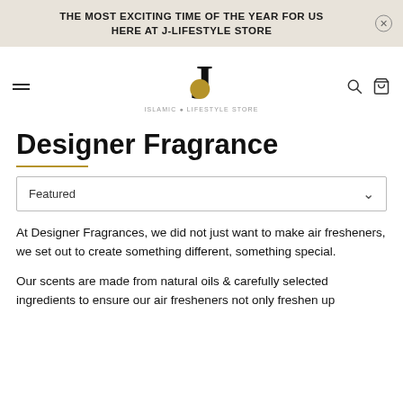THE MOST EXCITING TIME OF THE YEAR FOR US HERE AT J-LIFESTYLE STORE
[Figure (logo): J-Lifestyle Store logo: large bold serif J with gold circle dot, subtitle ISLAMIC LIFESTYLE STORE]
Designer Fragrance
Featured
At Designer Fragrances, we did not just want to make air fresheners, we set out to create something different, something special.
Our scents are made from natural oils & carefully selected ingredients to ensure our air fresheners not only freshen up